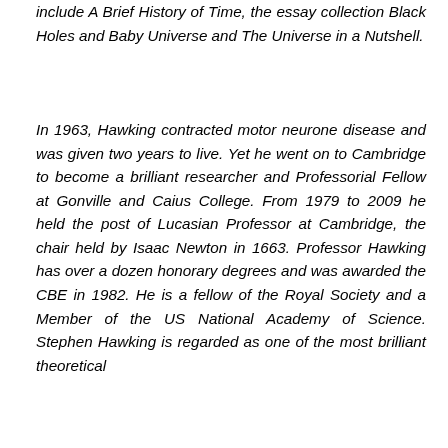include A Brief History of Time, the essay collection Black Holes and Baby Universe and The Universe in a Nutshell.
In 1963, Hawking contracted motor neurone disease and was given two years to live. Yet he went on to Cambridge to become a brilliant researcher and Professorial Fellow at Gonville and Caius College. From 1979 to 2009 he held the post of Lucasian Professor at Cambridge, the chair held by Isaac Newton in 1663. Professor Hawking has over a dozen honorary degrees and was awarded the CBE in 1982. He is a fellow of the Royal Society and a Member of the US National Academy of Science. Stephen Hawking is regarded as one of the most brilliant theoretical